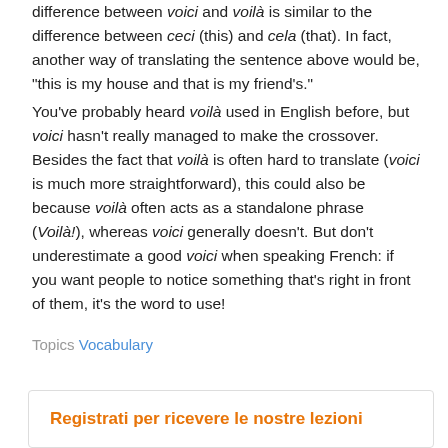difference between voici and voilà is similar to the difference between ceci (this) and cela (that). In fact, another way of translating the sentence above would be, "this is my house and that is my friend's." You've probably heard voilà used in English before, but voici hasn't really managed to make the crossover. Besides the fact that voilà is often hard to translate (voici is much more straightforward), this could also be because voilà often acts as a standalone phrase (Voilà!), whereas voici generally doesn't. But don't underestimate a good voici when speaking French: if you want people to notice something that's right in front of them, it's the word to use!
Topics Vocabulary
Registrati per ricevere le nostre lezioni